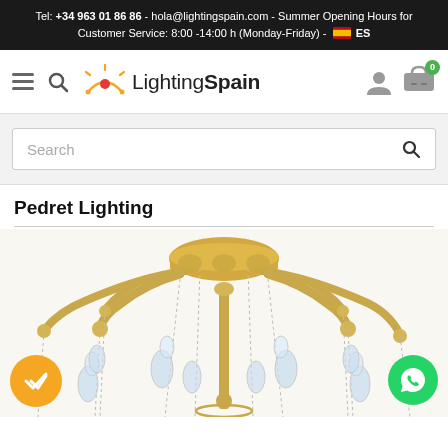Tel: +34 963 01 86 86 - hola@lightingspain.com - Summer Opening Hours for Customer Service: 8:00 -14:00 h (Monday-Friday) - ES
[Figure (logo): Lighting Spain navigation bar with hamburger menu, search icon, sun/arch logo, 'Lighting Spain' text, user icon, and shopping bag icon with badge showing 0]
[Figure (screenshot): Search input box with placeholder text 'Search' and a search magnifier icon on the right]
Pedret Lighting
[Figure (photo): Close-up photo of a gold chandelier with crystal droplets and chains. WhatsApp green circle button visible at bottom right, yellow checkmark badge at bottom left.]